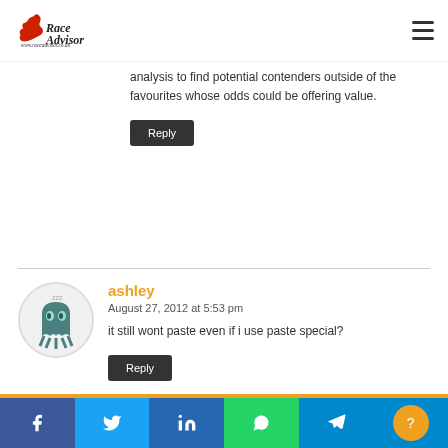Race Advisor - www.raceadvisor.co.uk
analysis to find potential contenders outside of the favourites whose odds could be offering value.
Reply
ashley
August 27, 2012 at 5:53 pm
it still wont paste even if i use paste special?
Reply